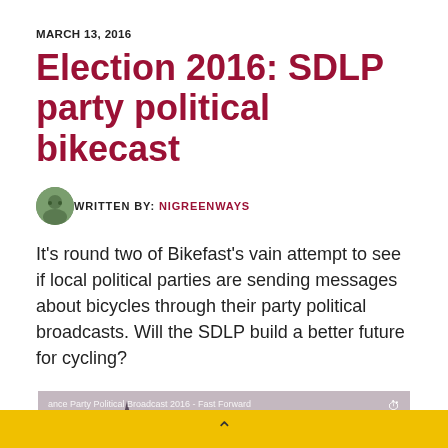MARCH 13, 2016
Election 2016: SDLP party political bikecast
WRITTEN BY: NIGREENWAYS
It's round two of Bikefast's vain attempt to see if local political parties are sending messages about bicycles through their party political broadcasts. Will the SDLP build a better future for cycling?
[Figure (screenshot): Video thumbnail showing Belfast cityscape with domed building and church spire, overlaid with 'THE POLITICS' yellow label and caption text 'ance Party Political Broadcast 2016 - Fast Forward']
▲